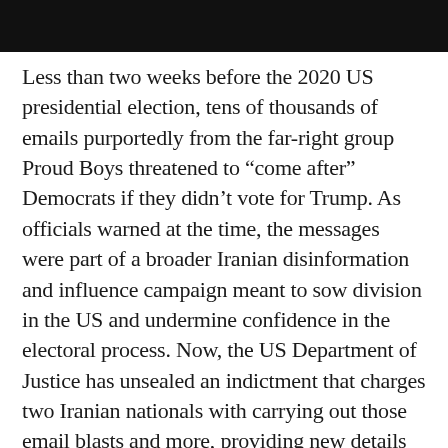[Figure (photo): Dark/black image bar at the top of the page, partially visible photograph]
Less than two weeks before the 2020 US presidential election, tens of thousands of emails purportedly from the far-right group Proud Boys threatened to “come after” Democrats if they didn’t vote for Trump. As officials warned at the time, the messages were part of a broader Iranian disinformation and influence campaign meant to sow division in the US and undermine confidence in the electoral process. Now, the US Department of Justice has unsealed an indictment that charges two Iranian nationals with carrying out those email blasts and more, providing new details on an audacious election interference